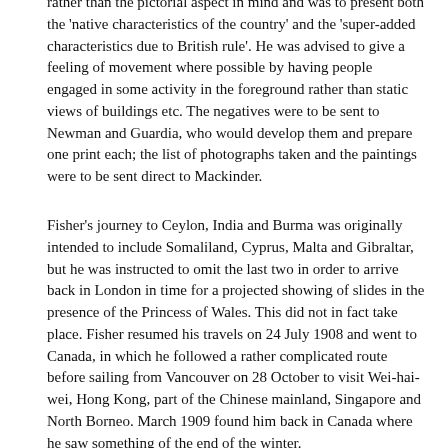rather than the pictorial aspect in mind and was to present both the 'native characteristics of the country' and the 'super-added characteristics due to British rule'. He was advised to give a feeling of movement where possible by having people engaged in some activity in the foreground rather than static views of buildings etc. The negatives were to be sent to Newman and Guardia, who would develop them and prepare one print each; the list of photographs taken and the paintings were to be sent direct to Mackinder.
Fisher's journey to Ceylon, India and Burma was originally intended to include Somaliland, Cyprus, Malta and Gibraltar, but he was instructed to omit the last two in order to arrive back in London in time for a projected showing of slides in the presence of the Princess of Wales. This did not in fact take place. Fisher resumed his travels on 24 July 1908 and went to Canada, in which he followed a rather complicated route before sailing from Vancouver on 28 October to visit Wei-hai-wei, Hong Kong, part of the Chinese mainland, Singapore and North Borneo. March 1909 found him back in Canada where he saw something of the end of the winter.